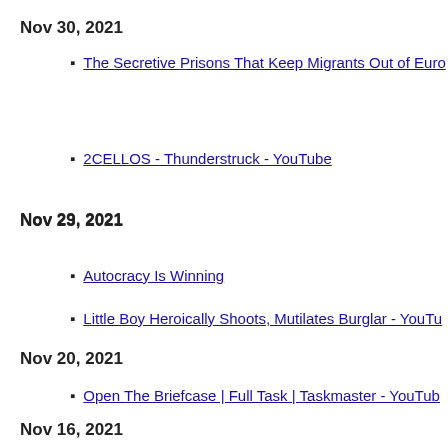Nov 30, 2021
The Secretive Prisons That Keep Migrants Out of Euro
Nov 29, 2021
2CELLOS - Thunderstruck - YouTube
Nov 23, 2021
Autocracy Is Winning
Little Boy Heroically Shoots, Mutilates Burglar - YouTu
Nov 20, 2021
Open The Briefcase | Full Task | Taskmaster - YouTub
Nov 16, 2021